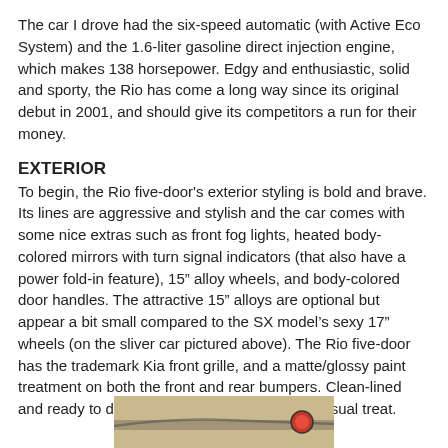The car I drove had the six-speed automatic (with Active Eco System) and the 1.6-liter gasoline direct injection engine, which makes 138 horsepower. Edgy and enthusiastic, solid and sporty, the Rio has come a long way since its original debut in 2001, and should give its competitors a run for their money.
EXTERIOR
To begin, the Rio five-door's exterior styling is bold and brave. Its lines are aggressive and stylish and the car comes with some nice extras such as front fog lights, heated body-colored mirrors with turn signal indicators (that also have a power fold-in feature), 15” alloy wheels, and body-colored door handles. The attractive 15” alloys are optional but appear a bit small compared to the SX model’s sexy 17” wheels (on the sliver car pictured above). The Rio five-door has the trademark Kia front grille, and a matte/glossy paint treatment on both the front and rear bumpers. Clean-lined and ready to drive, all-in-all the Rio is a great visual treat.
[Figure (photo): Partial photo of a car exterior showing a side profile with a red accent element, beige/tan background surface]